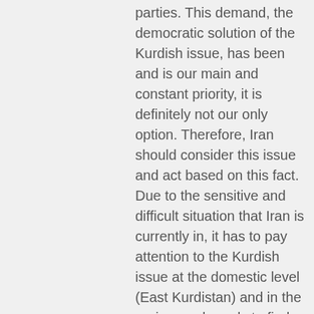parties. This demand, the democratic solution of the Kurdish issue, has been and is our main and constant priority, it is definitely not our only option. Therefore, Iran should consider this issue and act based on this fact. Due to the sensitive and difficult situation that Iran is currently in, it has to pay attention to the Kurdish issue at the domestic level (East Kurdistan) and in the region, and needs to find an appropriate attitude and behavior in order to find steps to find a solution. In this situation, any military action outside the borders by the system of the Islamic Republic is not a simple matter and will be sensitive and will have consequences. Although sometimes conflicts are not carried out with all due diligence, for us it does not